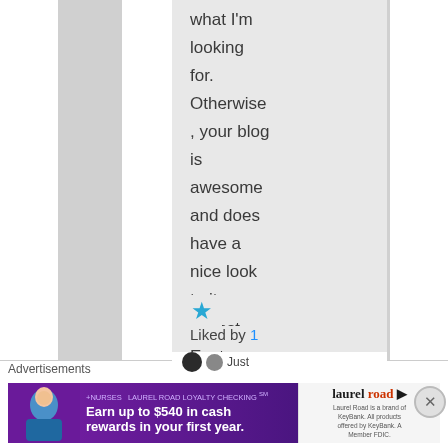what I'm looking for. Otherwise, your blog is awesome and does have a nice look to it, almost Eastern.
[Figure (other): Blue star icon (like/favorite button)]
Liked by 1
[Figure (other): User avatar and partial text 'Just' visible at bottom]
Advertisements
[Figure (other): Laurel Road Loyalty Checking advertisement banner - Earn up to $540 in cash rewards in your first year. Features nurse image and Laurel Road logo. Laurel Road is a brand of KeyBank. All products offered by KeyBank. A Member FDIC.]